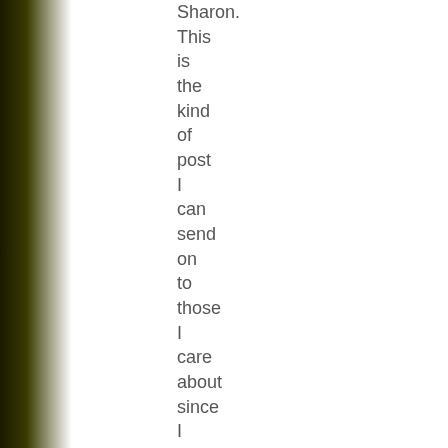Sharon. This is the kind of post I can send on to those I care about since I never seem to have the